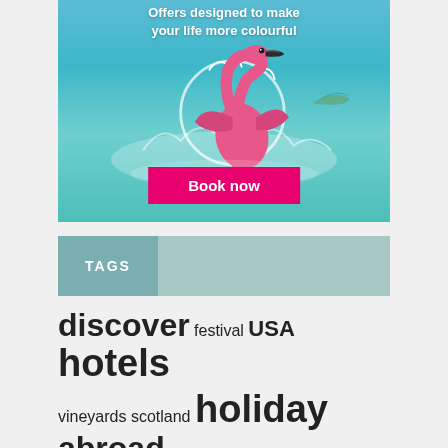[Figure (photo): Advertisement banner with a pink flamingo splashing in turquoise ocean water, clouds in sky background. Text reads 'Offers designed to make your life more colourful' with a pink 'Book now' button.]
TAGS
discover festival USA hotels vineyards scotland holiday abroad new york thailand Karen H...